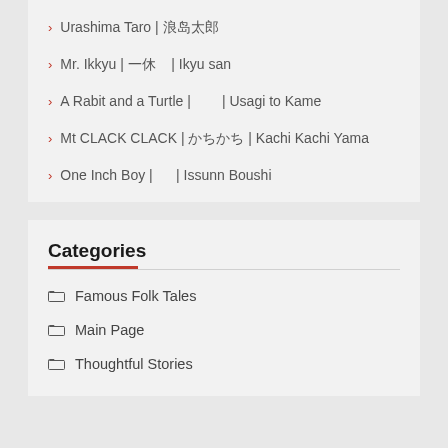Urashima Taro | 浦島太郎
Mr. Ikkyu | 一休　　| Ikyu san
A Rabit and a Turtle |　　　　　| Usagi to Kame
Mt CLACK CLACK | かちかち | Kachi Kachi Yama
One Inch Boy |　　　　| Issunn Boushi
Categories
Famous Folk Tales
Main Page
Thoughtful Stories